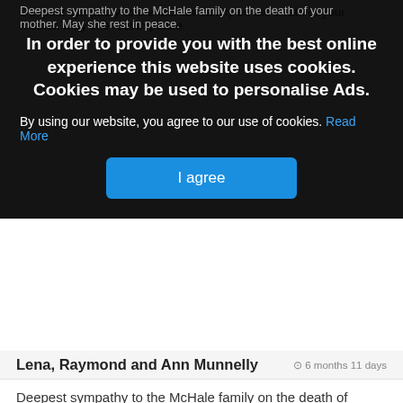Deepest sympathy to the McHale family on the death of your mother. May she rest in peace.
[Figure (screenshot): Cookie consent overlay with dark background. Title: 'In order to provide you with the best online experience this website uses cookies. Cookies may be used to personalise Ads.' Body: 'By using our website, you agree to our use of cookies. Read More'. Button: 'I agree']
Lena, Raymond and Ann Munnelly
© 6 months 11 days
Deepest sympathy to the McHale family on the death of Margaret. May she rest in peace.
Eileen & Peter Boyd & Family Bonniconlon
© 6 months 11 days
Our sincere sympathy to the McHale family on the death of your dear mother also the extended family and friends. Fond memories of Maggie...a lovely person. May she